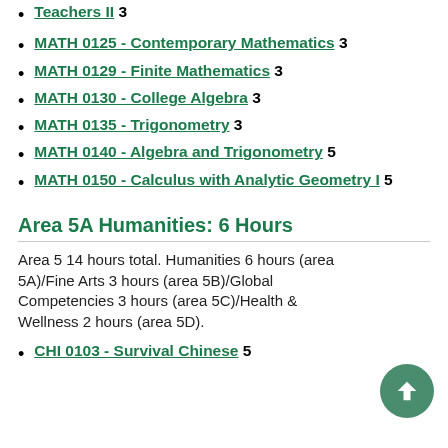Teachers II 3
MATH 0125 - Contemporary Mathematics 3
MATH 0129 - Finite Mathematics 3
MATH 0130 - College Algebra 3
MATH 0135 - Trigonometry 3
MATH 0140 - Algebra and Trigonometry 5
MATH 0150 - Calculus with Analytic Geometry I 5
Area 5A Humanities: 6 Hours
Area 5 14 hours total. Humanities 6 hours (area 5A)/Fine Arts 3 hours (area 5B)/Global Competencies 3 hours (area 5C)/Health & Wellness 2 hours (area 5D).
CHI 0103 - Survival Chinese 5